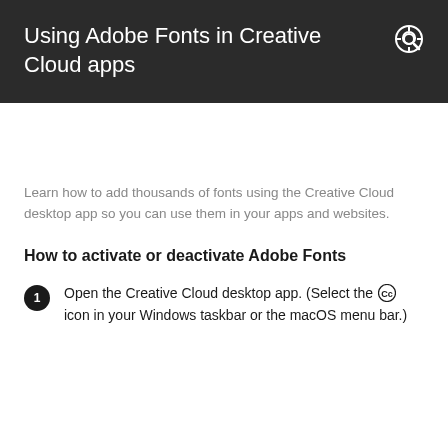Using Adobe Fonts in Creative Cloud apps
Learn how to add thousands of fonts using the Creative Cloud desktop app so you can use them in your apps and websites.
How to activate or deactivate Adobe Fonts
Open the Creative Cloud desktop app. (Select the [CC icon] icon in your Windows taskbar or the macOS menu bar.)